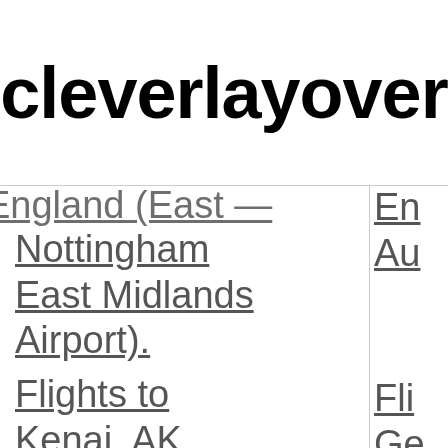cleverlayover
England (East Midlands
Nottingham East Midlands Airport). Flights to Kenai, AK (ENA)
En Au Fli Ge